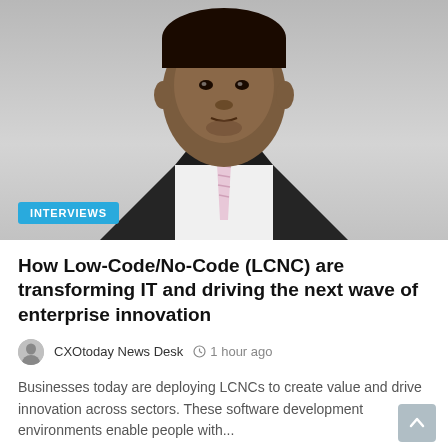[Figure (photo): Professional headshot of a man in a dark suit with a light pink tie, gray background. Blue 'INTERVIEWS' badge overlaid at bottom-left.]
How Low-Code/No-Code (LCNC) are transforming IT and driving the next wave of enterprise innovation
CXOtoday News Desk   1 hour ago
Businesses today are deploying LCNCs to create value and drive innovation across sectors. These software development environments enable people with...